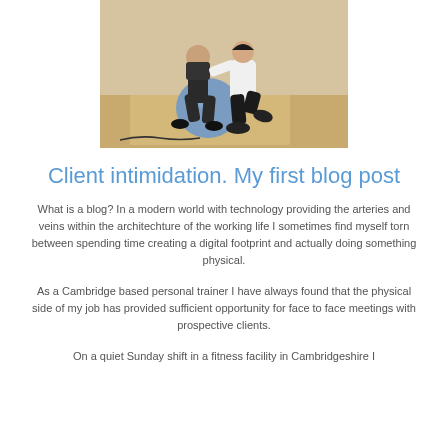[Figure (photo): A personal trainer kneeling beside a client who is sitting on an exercise ball, in a fitness facility with a wooden floor.]
Client intimidation. My first blog post
What is a blog? In a modern world with technology providing the arteries and veins within the architechture of the working life I sometimes find myself torn between spending time creating a digital footprint and actually doing something physical.
As a Cambridge based personal trainer I have always found that the physical side of my job has provided sufficient opportunity for face to face meetings with prospective clients.
On a quiet Sunday shift in a fitness facility in Cambridgeshire I